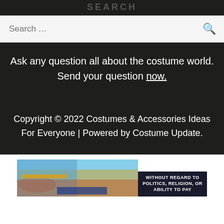SEARCH
Search …
Ask any question all about the costume world. Send your question now.
Copyright © 2022 Costumes & Accessories Ideas For Everyone | Powered by Costume Update.
[Figure (photo): Advertisement image showing an airplane being loaded with cargo, with a dark banner overlay reading WITHOUT REGARD TO POLITICS, RELIGION, OR ABILITY TO PAY]